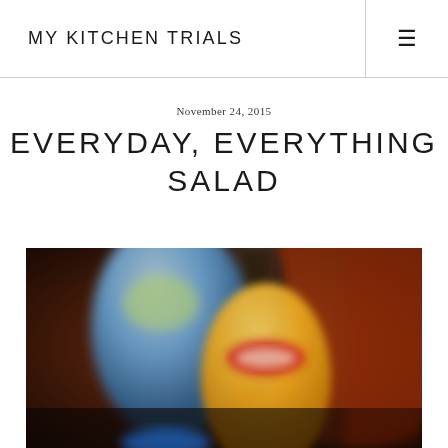MY KITCHEN TRIALS
November 24, 2015
EVERYDAY, EVERYTHING SALAD
[Figure (photo): Blurred close-up photograph of condiment bottles including a blue squeeze bottle and a yellow Dijon mustard bottle on a dark background with warm tones.]